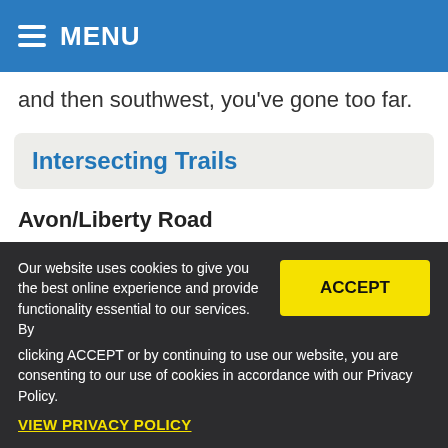MENU
and then southwest, you’ve gone too far.
Intersecting Trails
Avon/Liberty Road
This road is part of the Great Western Trail.
Our website uses cookies to give you the best online experience and provide functionality essential to our services. By clicking ACCEPT or by continuing to use our website, you are consenting to our use of cookies in accordance with our Privacy Policy.
VIEW PRIVACY POLICY